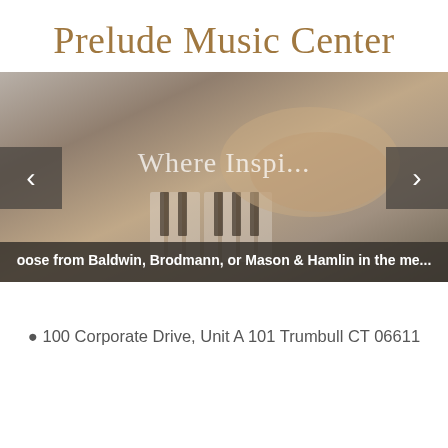Prelude Music Center
[Figure (screenshot): Website screenshot showing a photo slider with hands playing piano keys. The slider shows text 'Where Inspi...' and a banner text 'oose from Baldwin, Brodmann, or Mason & Hamlin in the me...' with left and right navigation arrows.]
100 Corporate Drive, Unit A 101 Trumbull CT 06611